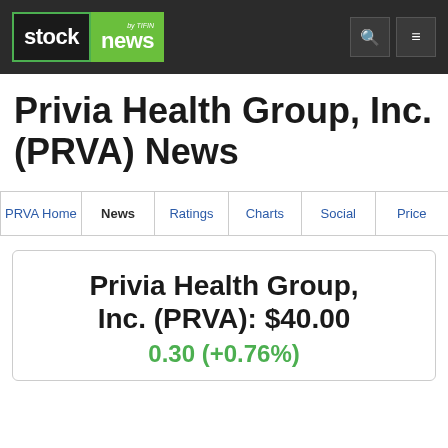stock news by TIFIN
Privia Health Group, Inc. (PRVA) News
PRVA Home | News | Ratings | Charts | Social | Price
Privia Health Group, Inc. (PRVA): $40.00
0.30 (+0.76%)